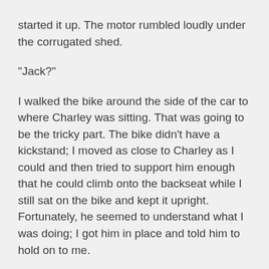started it up. The motor rumbled loudly under the corrugated shed.
"Jack?"
I walked the bike around the side of the car to where Charley was sitting. That was going to be the tricky part. The bike didn't have a kickstand; I moved as close to Charley as I could and then tried to support him enough that he could climb onto the backseat while I still sat on the bike and kept it upright. Fortunately, he seemed to understand what I was doing; I got him in place and told him to hold on to me.
Bobby Lembeck: "Jack? They're here."